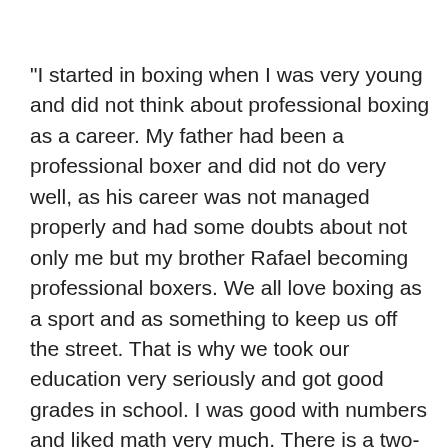"I started in boxing when I was very young and did not think about professional boxing as a career. My father had been a professional boxer and did not do very well, as his career was not managed properly and had some doubts about not only me but my brother Rafael becoming professional boxers. We all love boxing as a sport and as something to keep us off the street. That is why we took our education very seriously and got good grades in school. I was good with numbers and liked math very much. There is a two-year course in México that will get you certified as a bookkeeper and another two-year course that will get you certified as an accountant. By the time I made my professional debut I was an accountant and got a job working in the city